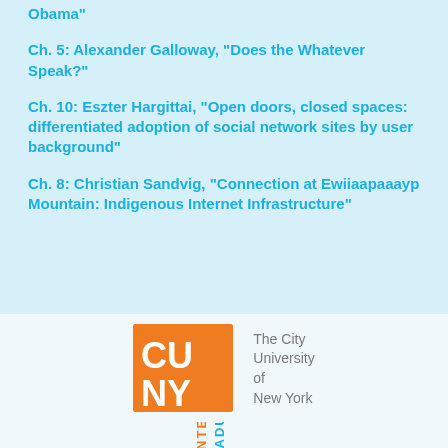Obama"
Ch. 5: Alexander Galloway, "Does the Whatever Speak?"
Ch. 10: Eszter Hargittai, "Open doors, closed spaces: differentiated adoption of social network sites by user background"
Ch. 8: Christian Sandvig, "Connection at Ewiiaapaaayp Mountain: Indigenous Internet Infrastructure"
[Figure (logo): CUNY - The City University of New York logo with orange block letters CU/NY and grey text]
[Figure (logo): Partial view of Graduate Center logo text rotated vertically]